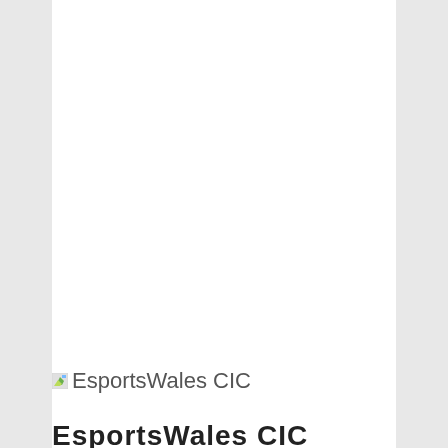[Figure (logo): EsportsWales CIC logo image placeholder with green icon and text 'EsportsWales CIC']
EsportsWales CIC